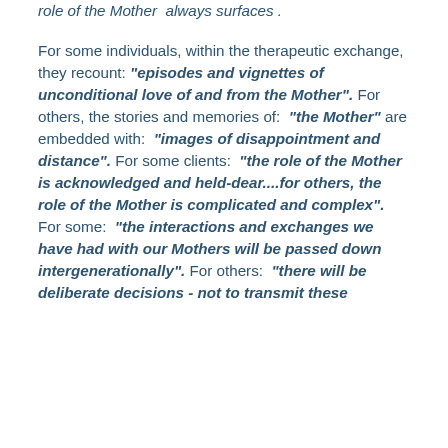role of the Mother  always surfaces .

For some individuals, within the therapeutic exchange, they recount: "episodes and vignettes of unconditional love of and from the Mother". For others, the stories and memories of:  "the Mother" are embedded with:  "images of disappointment and distance". For some clients:  "the role of the Mother is acknowledged and held-dear....for others, the role of the Mother is complicated and complex". For some:  "the interactions and exchanges we have had with our Mothers will be passed down intergenerationally". For others:  "there will be deliberate decisions - not to transmit these